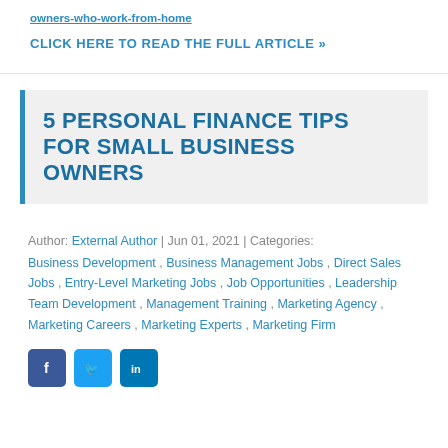owners-who-work-from-home
CLICK HERE TO READ THE FULL ARTICLE »
5 PERSONAL FINANCE TIPS FOR SMALL BUSINESS OWNERS
Author: External Author | Jun 01, 2021 | Categories: Business Development , Business Management Jobs , Direct Sales Jobs , Entry-Level Marketing Jobs , Job Opportunities , Leadership Team Development , Management Training , Marketing Agency , Marketing Careers , Marketing Experts , Marketing Firm
[Figure (other): Social media share buttons: Facebook, Twitter, LinkedIn]